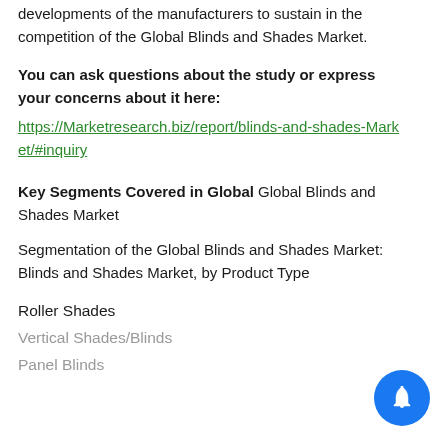developments of the manufacturers to sustain in the competition of the Global Blinds and Shades Market.
You can ask questions about the study or express your concerns about it here:
https://Marketresearch.biz/report/blinds-and-shades-Market/#inquiry
Key Segments Covered in Global Global Blinds and Shades Market
Segmentation of the Global Blinds and Shades Market: Blinds and Shades Market, by Product Type
Roller Shades
Vertical Shades/Blinds
Panel Blinds